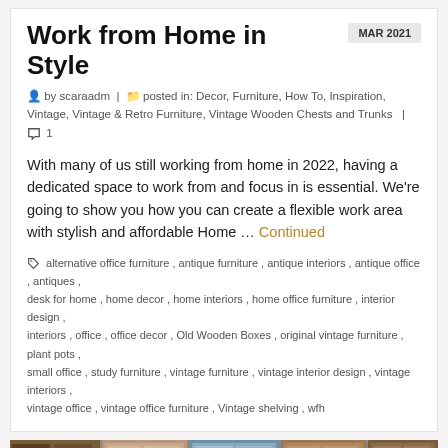Work from Home in Style
MAR 2021
by scaraadm | posted in: Decor, Furniture, How To, Inspiration, Vintage, Vintage & Retro Furniture, Vintage Wooden Chests and Trunks | 1
With many of us still working from home in 2022, having a dedicated space to work from and focus in is essential. We're going to show you how you can create a flexible work area with stylish and affordable Home … Continued
alternative office furniture, antique furniture, antique interiors, antique office, antiques, desk for home, home decor, home interiors, home office furniture, interior design, interiors, office, office decor, Old Wooden Boxes, original vintage furniture, plant pots, small office, study furniture, vintage furniture, vintage interior design, vintage interiors, vintage office, vintage office furniture, Vintage shelving, wfh
[Figure (photo): A collage of vintage wooden furniture including cabinets and shelving units with glass panels]